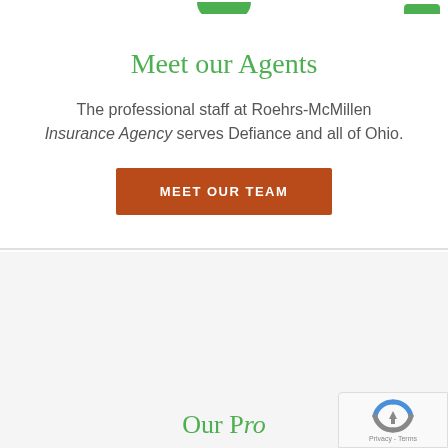[Figure (other): Green rounded tab/accent at top center of page, partial navigation element]
[Figure (other): Green hamburger menu button in top right corner with three white horizontal bars]
Meet our Agents
The professional staff at Roehrs-McMillen Insurance Agency serves Defiance and all of Ohio.
MEET OUR TEAM
Our P...
[Figure (other): reCAPTCHA badge in bottom right corner showing reCAPTCHA logo and Privacy - Terms text]